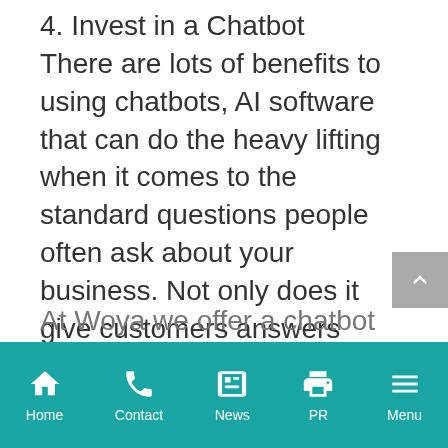4. Invest in a Chatbot
There are lots of benefits to using chatbots, AI software that can do the heavy lifting when it comes to the standard questions people often ask about your business. Not only does it give customers answers they are looking for immediately, it greatly improves UX (It doesn't have to be expensive either!)
At Woya we offer a chatbot
Home  Contact  News  PR  Menu